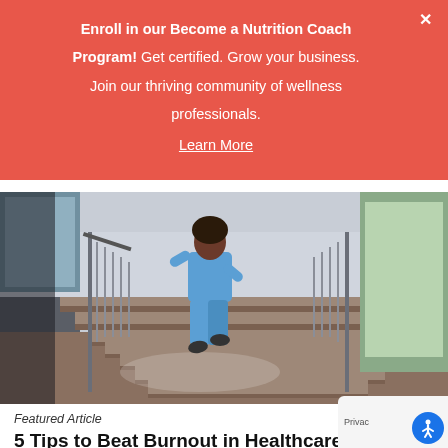Enroll in our Become a Nutrition Coach Program! Get certified. Grow your business. Join our thriving community of wellness professionals. Learn More
[Figure (photo): A healthcare worker in blue scrubs running up an interior staircase inside a hospital or medical facility, viewed from behind. Metal railings on both sides, large windows letting in light.]
Featured Article
5 Tips to Beat Burnout in Healthcare: